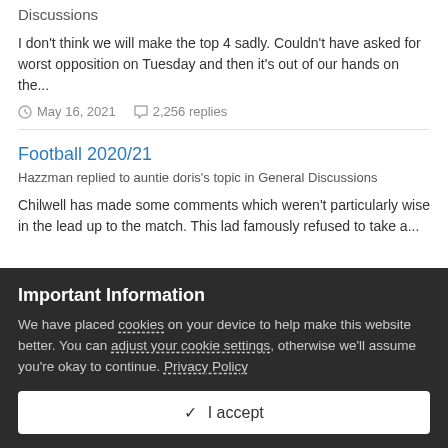Discussions
I don't think we will make the top 4 sadly. Couldn't have asked for worst opposition on Tuesday and then it's out of our hands on the...
May 16, 2021   2,256 replies
Football 2020/21
Hazzman replied to auntie doris's topic in General Discussions
Chilwell has made some comments which weren't particularly wise in the lead up to the match. This lad famously refused to take a...
Important Information
We have placed cookies on your device to help make this website better. You can adjust your cookie settings, otherwise we'll assume you're okay to continue. Privacy Policy
✓  I accept